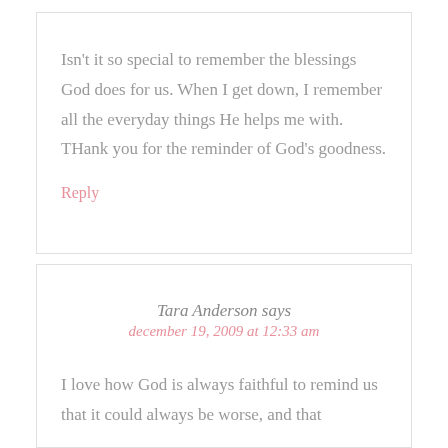Isn't it so special to remember the blessings God does for us. When I get down, I remember all the everyday things He helps me with. THank you for the reminder of God's goodness.
Reply
Tara Anderson says
december 19, 2009 at 12:33 am
I love how God is always faithful to remind us that it could always be worse, and that